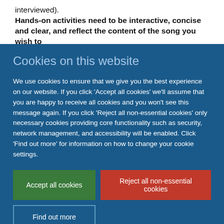interviewed).
Hands-on activities need to be interactive, concise and clear, and reflect the content of the song you wish to
Cookies on this website
We use cookies to ensure that we give you the best experience on our website. If you click 'Accept all cookies' we'll assume that you are happy to receive all cookies and you won't see this message again. If you click 'Reject all non-essential cookies' only necessary cookies providing core functionality such as security, network management, and accessibility will be enabled. Click 'Find out more' for information on how to change your cookie settings.
Accept all cookies
Reject all non-essential cookies
Find out more